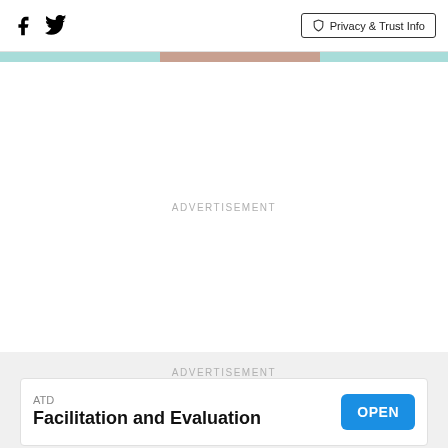Facebook Twitter Privacy & Trust Info
ADVERTISEMENT
ADVERTISEMENT
ATD Facilitation and Evaluation OPEN